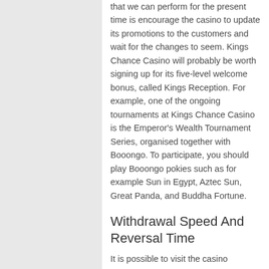that we can perform for the present time is encourage the casino to update its promotions to the customers and wait for the changes to seem. Kings Chance Casino will probably be worth signing up for its five-level welcome bonus, called Kings Reception. For example, one of the ongoing tournaments at Kings Chance Casino is the Emperor's Wealth Tournament Series, organised together with Booongo. To participate, you should play Booongo pokies such as for example Sun in Egypt, Aztec Sun, Great Panda, and Buddha Fortune.
Withdrawal Speed And Reversal Time
It is possible to visit the casino website, log in or sign up, create a deposit, and begin playing right away in a compatible browser, be it a desktop or mobile device. The home page has plenty of thumbnails that are categorized under different game